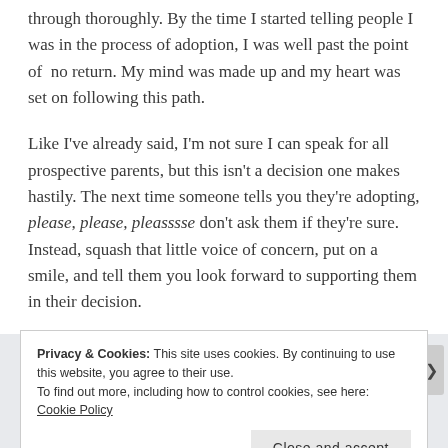through thoroughly. By the time I started telling people I was in the process of adoption, I was well past the point of  no return. My mind was made up and my heart was set on following this path.
Like I've already said, I'm not sure I can speak for all prospective parents, but this isn't a decision one makes hastily. The next time someone tells you they're adopting, please, please, pleasssse don't ask them if they're sure. Instead, squash that little voice of concern, put on a smile, and tell them you look forward to supporting them in their decision.
Privacy & Cookies: This site uses cookies. By continuing to use this website, you agree to their use.
To find out more, including how to control cookies, see here: Cookie Policy
Close and accept